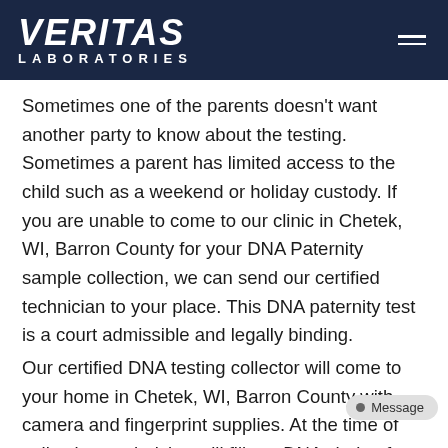VERITAS LABORATORIES
Sometimes one of the parents doesn't want another party to know about the testing. Sometimes a parent has limited access to the child such as a weekend or holiday custody. If you are unable to come to our clinic in Chetek, WI, Barron County for your DNA Paternity sample collection, we can send our certified technician to your place. This DNA paternity test is a court admissible and legally binding.
Our certified DNA testing collector will come to your home in Chetek, WI, Barron County with camera and fingerprint supplies. At the time of collection, technician will fill our DNA chain of custody form, will take a photograph of tested parties and will take fing... Then, your samples will be sent to our national AABB...